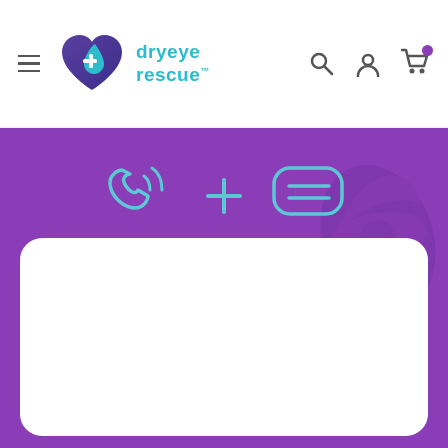[Figure (screenshot): Dryeye Rescue website header with hamburger menu, logo (heart with cross icon and teal 'dryeye rescue' text), search icon, user icon, and shopping cart icon with purple dot]
[Figure (illustration): Purple banner background with light teal outline icons of a phone/call icon, a plus sign, and a chat/message bubble icon, plus a decorative floral element on the right. A large white rounded rectangle card sits in the lower portion.]